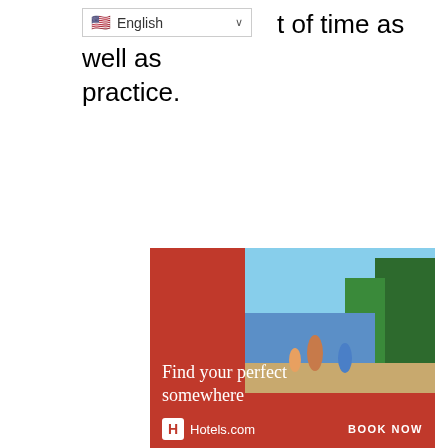of time as well as practice.
[Figure (screenshot): Language selector dropdown showing US flag and 'English' with a chevron arrow]
[Figure (screenshot): Close/dismiss X button in teal/cyan color]
[Figure (screenshot): Hotels.com advertisement banner with text 'Find your perfect somewhere', a tropical photo background, Hotels.com logo, and BOOK NOW button]